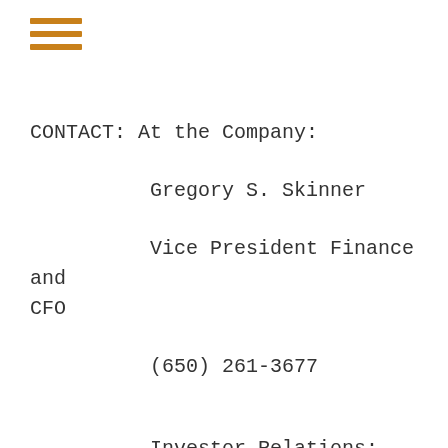[Figure (other): Orange hamburger menu icon with three horizontal lines]
CONTACT: At the Company:

        Gregory S. Skinner

        Vice President Finance and CFO

        (650) 261-3677



        Investor Relations:

        Matt Glover or Michael